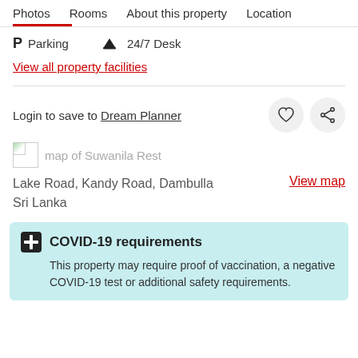Photos  Rooms  About this property  Location
P  Parking
24/7 Desk
View all property facilities
Login to save to Dream Planner
[Figure (other): Broken image placeholder for map of Suwanila Rest]
Lake Road, Kandy Road, Dambulla
Sri Lanka
View map
COVID-19 requirements
This property may require proof of vaccination, a negative COVID-19 test or additional safety requirements.